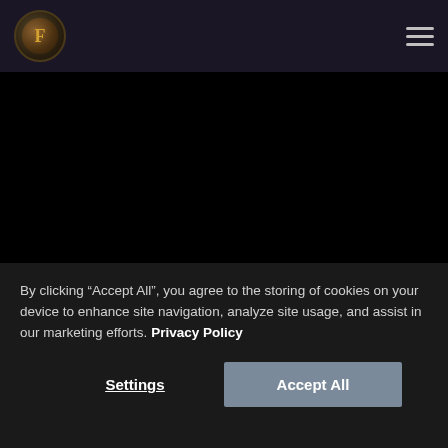F logo | hamburger menu
[Figure (other): Dark hero background area, mostly black]
Begin your
By clicking “Accept All”, you agree to the storing of cookies on your device to enhance site navigation, analyze site usage, and assist in our marketing efforts. Privacy Policy
Settings | Accept All